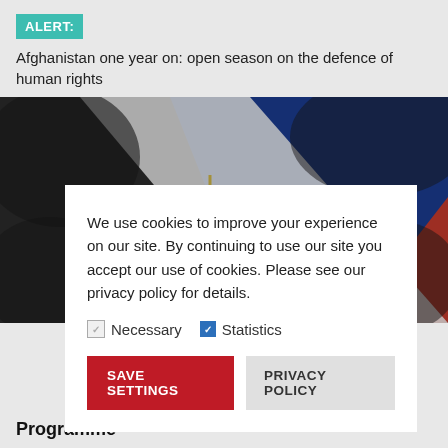ALERT: Afghanistan one year on: open season on the defence of human rights
[Figure (photo): Philippine flag with smoke/haze overlay, red, white and blue with yellow sun symbol]
We use cookies to improve your experience on our site. By continuing to use our site you accept our use of cookies. Please see our privacy policy for details.
Necessary  Statistics
SAVE SETTINGS  PRIVACY POLICY
Programme